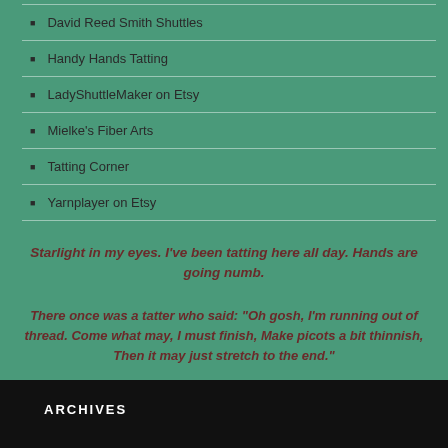David Reed Smith Shuttles
Handy Hands Tatting
LadyShuttleMaker on Etsy
Mielke's Fiber Arts
Tatting Corner
Yarnplayer on Etsy
Starlight in my eyes. I've been tatting here all day. Hands are going numb.
There once was a tatter who said: "Oh gosh, I'm running out of thread. Come what may, I must finish, Make picots a bit thinnish, Then it may just stretch to the end."
ARCHIVES